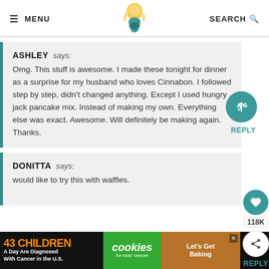≡ MENU   [logo]   SEARCH Q
ASHLEY says:
Omg. This stuff is awesome. I made these tonight for dinner as a surprise for my husband who loves Cinnabon. I followed step by step, didn't changed anything. Except I used hungry jack pancake mix. Instead of making my own. Everything else was exact. Awesome. Will definitely be making again. Thanks.
DONITTA says:
would like to try this with waffles.
[Figure (other): Ad banner: 43 CHILDREN A Day Are Diagnosed With Cancer in the U.S. | cookies for kids cancer | Let's Get Baking]